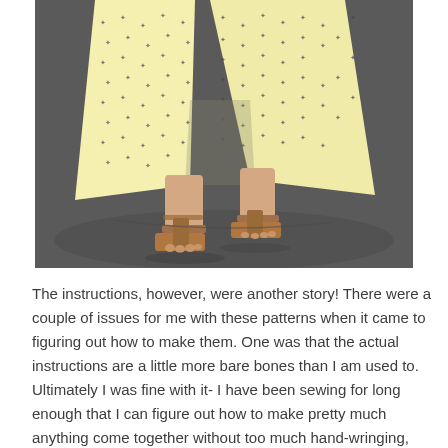[Figure (photo): Close-up photograph of a person's lower legs wearing a yellow dress with small blue/dark floral pattern, and tan block-heel sandals, standing on a dark gray floor.]
The instructions, however, were another story! There were a couple of issues for me with these patterns when it came to figuring out how to make them. One was that the actual instructions are a little more bare bones than I am used to. Ultimately I was fine with it- I have been sewing for long enough that I can figure out how to make pretty much anything come together without too much hand-wringing, but I would not suggest